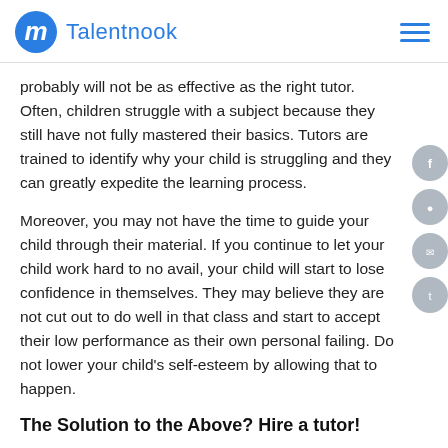Talentnook
probably will not be as effective as the right tutor. Often, children struggle with a subject because they still have not fully mastered their basics. Tutors are trained to identify why your child is struggling and they can greatly expedite the learning process.
Moreover, you may not have the time to guide your child through their material. If you continue to let your child work hard to no avail, your child will start to lose confidence in themselves. They may believe they are not cut out to do well in that class and start to accept their low performance as their own personal failing. Do not lower your child's self-esteem by allowing that to happen.
The Solution to the Above? Hire a tutor!
After going through the above, you realize that your child is